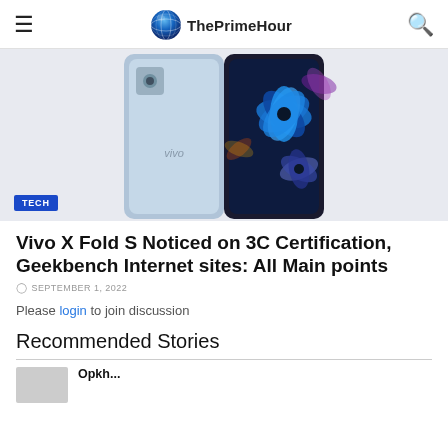ThePrimeHour
[Figure (photo): Vivo X Fold S smartphone shown from the back – one side in light blue/silver, the other with a dark floral display of blue flowers. TECH badge visible at bottom left.]
Vivo X Fold S Noticed on 3C Certification, Geekbench Internet sites: All Main points
SEPTEMBER 1, 2022
Please login to join discussion
Recommended Stories
Recommended story preview